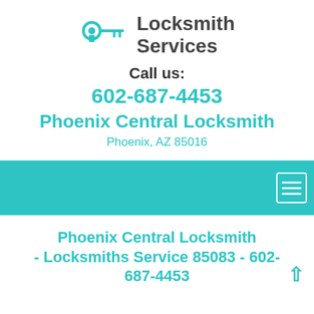[Figure (logo): Locksmith Services logo with teal key and keyhole icon, and dark gray bold text reading 'Locksmith Services']
Call us:
602-687-4453
Phoenix Central Locksmith
Phoenix, AZ 85016
[Figure (other): Teal navigation bar with hamburger menu icon (three horizontal lines in a white-bordered square) on the right side]
Phoenix Central Locksmith - Locksmiths Service 85083 - 602-687-4453